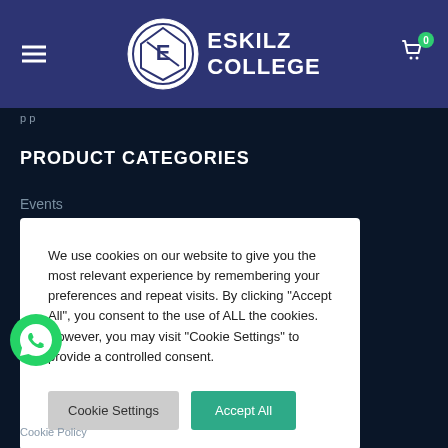Eskilz College — navigation header with logo, hamburger menu, and cart icon showing 0
p p
PRODUCT CATEGORIES
Events
We use cookies on our website to give you the most relevant experience by remembering your preferences and repeat visits. By clicking "Accept All", you consent to the use of ALL the cookies. However, you may visit "Cookie Settings" to provide a controlled consent.
Cookie Settings   Accept All
[Figure (logo): WhatsApp green chat bubble icon]
Cookie Policy